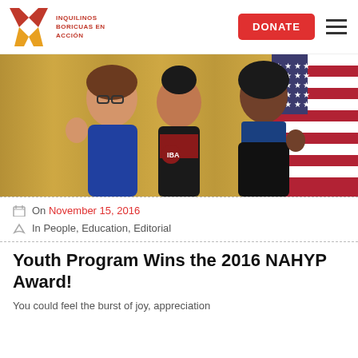Inquilinos Boricuas en Acción — DONATE — Navigation Menu
[Figure (photo): Three women posing and smiling in front of a gold curtain and American flag. Two women in blue outfits and one woman on the right in a black and blue lace dress.]
On November 15, 2016
In People, Education, Editorial
Youth Program Wins the 2016 NAHYP Award!
You could feel the burst of joy, appreciation